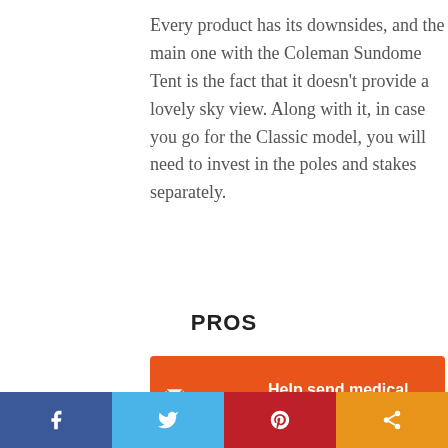Every product has its downsides, and the main one with the Coleman Sundome Tent is the fact that it doesn't provide a lovely sky view. Along with it, in case you go for the Classic model, you will need to invest in the poles and stakes separately.
PROS
[Figure (infographic): Orange advertisement banner for Direct Relief charity: 'Help send medical aid to Ukraine >>']